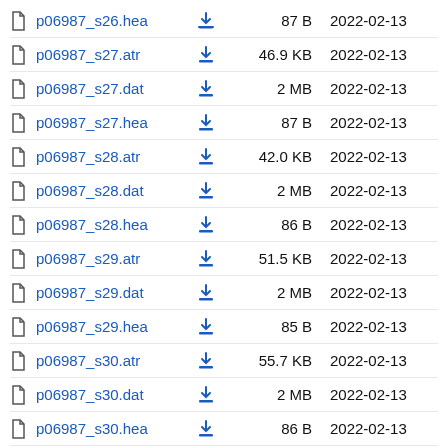p06987_s26.hea  87 B  2022-02-13
p06987_s27.atr  46.9 KB  2022-02-13
p06987_s27.dat  2 MB  2022-02-13
p06987_s27.hea  87 B  2022-02-13
p06987_s28.atr  42.0 KB  2022-02-13
p06987_s28.dat  2 MB  2022-02-13
p06987_s28.hea  86 B  2022-02-13
p06987_s29.atr  51.5 KB  2022-02-13
p06987_s29.dat  2 MB  2022-02-13
p06987_s29.hea  85 B  2022-02-13
p06987_s30.atr  55.7 KB  2022-02-13
p06987_s30.dat  2 MB  2022-02-13
p06987_s30.hea  86 B  2022-02-13
p06987_s31.atr  55.6 KB  2022-02-13